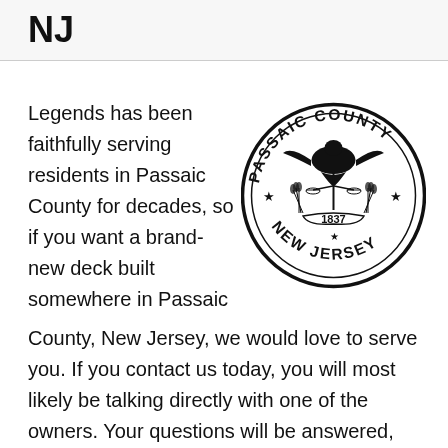NJ
Legends has been faithfully serving residents in Passaic County for decades, so if you want a brand-new deck built somewhere in Passaic County, New Jersey, we would love to serve you. If you contact us today, you will most likely be talking directly with one of the owners. Your questions will be answered, and all your special instructions will be followed. Our excellent reputation is why your deck
[Figure (logo): Passaic County New Jersey official seal — circular seal with eagle, scales of justice, stars, wheat sheaves, and banner reading '1837' at center. Text around the border reads 'PASSAIC COUNTY' at the top and 'NEW JERSEY' at the bottom.]